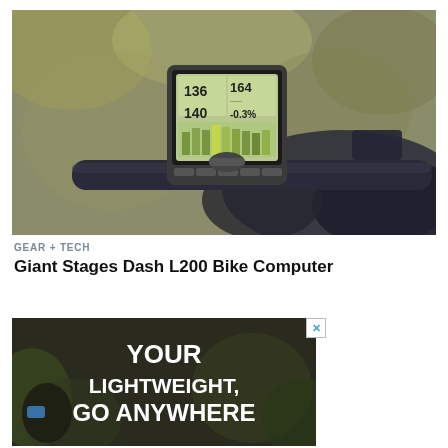[Figure (photo): Close-up photo of a bike computer (GPS cycling device) mounted on bicycle handlebars, showing stats on its screen. A gloved hand grips the handlebar. Background is blurred outdoor foliage.]
GEAR + TECH
Giant Stages Dash L200 Bike Computer
[Figure (photo): Advertisement banner with dark outdoor background showing text: YOUR LIGHTWEIGHT, GO ANYWHERE with a close X button in the top right corner.]